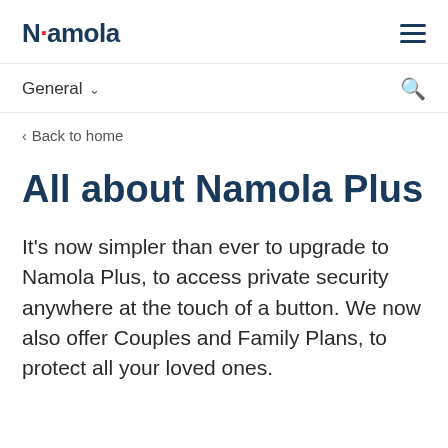Namola
General ∨
< Back to home
All about Namola Plus
It's now simpler than ever to upgrade to Namola Plus, to access private security anywhere at the touch of a button. We now also offer Couples and Family Plans, to protect all your loved ones.